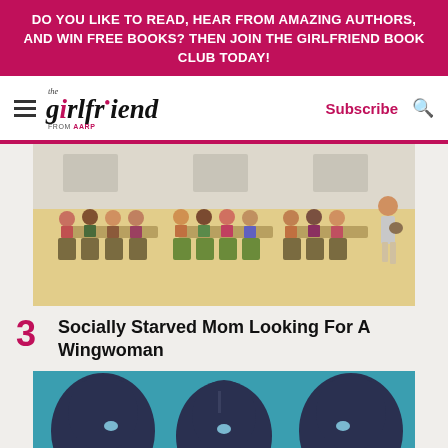DO YOU LIKE TO READ, HEAR FROM AMAZING AUTHORS, AND WIN FREE BOOKS? THEN JOIN THE GIRLFRIEND BOOK CLUB TODAY!
[Figure (logo): The Girlfriend from AARP logo with hamburger menu, Subscribe button and search icon]
[Figure (illustration): Illustration of women sitting at tables in a cafeteria-style setting, with one woman standing alone to the right holding a bag]
3 Socially Starved Mom Looking For A Wingwoman
[Figure (illustration): Illustration of three stylized dark silhouetted faces/heads on teal background]